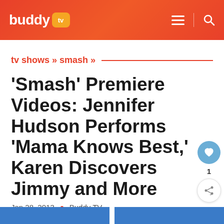buddy tv
tv shows » smash »
'Smash' Premiere Videos: Jennifer Hudson Performs 'Mama Knows Best,' Karen Discovers Jimmy and More
Jan 28, 2013  •  Buddy TV